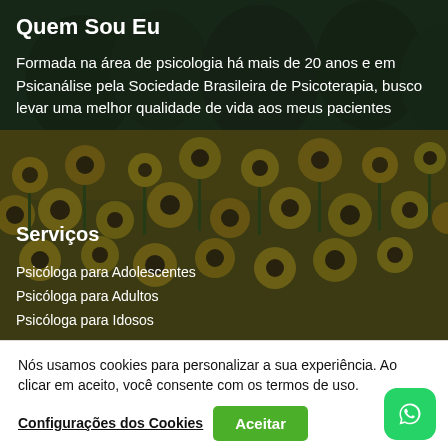[Figure (photo): Background photo of sunflower field with dark tree backdrop and overlay]
Quem Sou Eu
Formada na área de psicologia há mais de 20 anos e em Psicanálise pela Sociedade Brasileira de Psicoterapia, busco levar uma melhor qualidade de vida aos meus pacientes
Serviços
Psicóloga para Adolescentes
Psicóloga para Adultos
Psicóloga para Idosos
Nós usamos cookies para personalizar a sua experiência. Ao clicar em aceito, você consente com os termos de uso.
Configurações dos Cookies | Aceitar